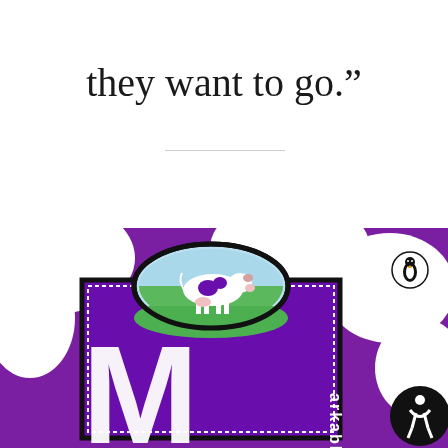they want to go.”
[Figure (illustration): Book cover of 'Purple Cow' by Seth Godin showing a purple cow on a green field inside an oval medallion, set against a purple background with white cow-spot pattern. The cover includes a Penguin Books logo, partial large letter M, the word 'markable', and an accessibility icon in the bottom right corner.]